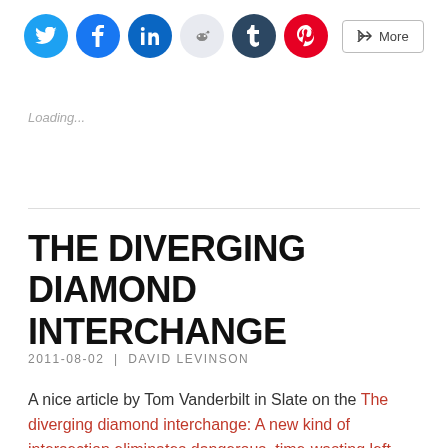[Figure (infographic): Social media sharing buttons: Twitter (blue), Facebook (blue), LinkedIn (blue), Reddit (light gray), Tumblr (dark navy), Pinterest (red), and a More button]
Loading...
THE DIVERGING DIAMOND INTERCHANGE
2011-08-02  |  DAVID LEVINSON
A nice article by Tom Vanderbilt in Slate on the The diverging diamond interchange: A new kind of intersection eliminates dangerous, time-wasting left